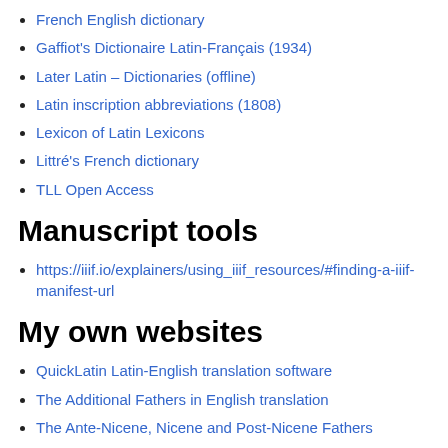French English dictionary
Gaffiot's Dictionaire Latin-Français (1934)
Later Latin – Dictionaries (offline)
Latin inscription abbreviations (1808)
Lexicon of Latin Lexicons
Littré's French dictionary
TLL Open Access
Manuscript tools
https://iiif.io/explainers/using_iiif_resources/#finding-a-iiif-manifest-url
My own websites
QuickLatin Latin-English translation software
The Additional Fathers in English translation
The Ante-Nicene, Nicene and Post-Nicene Fathers